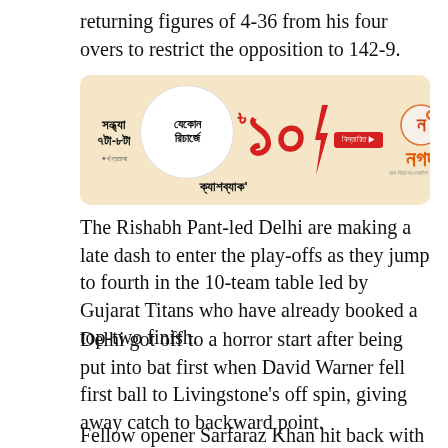returning figures of 4-36 from his four overs to restrict the opposition to 142-9.
[Figure (infographic): Advertisement banner for Nagad mobile banking service, showing a cashback offer of ৳10 on any recharge between 7PM-8PM, with Bengali text and Nagad logo.]
The Rishabh Pant-led Delhi are making a late dash to enter the play-offs as they jump to fourth in the 10-team table led by Gujarat Titans who have already booked a top-two finish.
Delhi got off to a horror start after being put into bat first when David Warner fell first ball to Livingstone's off spin, giving away catch to backward point.
Fellow opener Sarfaraz Khan hit back with a 32-ball 16 before falling to left-arm medium-pace bowler Arshdeep Singh, who also dealt with the...